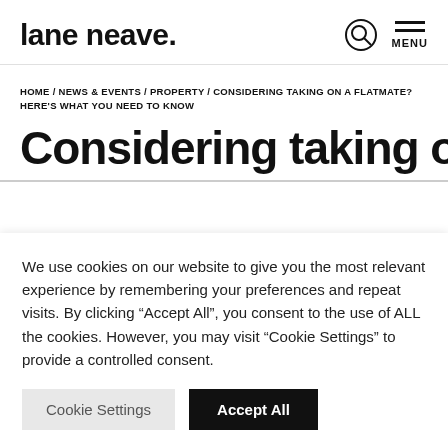lane neave. MENU
HOME / NEWS & EVENTS / PROPERTY / CONSIDERING TAKING ON A FLATMATE? HERE'S WHAT YOU NEED TO KNOW
Considering taking on
We use cookies on our website to give you the most relevant experience by remembering your preferences and repeat visits. By clicking “Accept All”, you consent to the use of ALL the cookies. However, you may visit “Cookie Settings” to provide a controlled consent.
Cookie Settings | Accept All